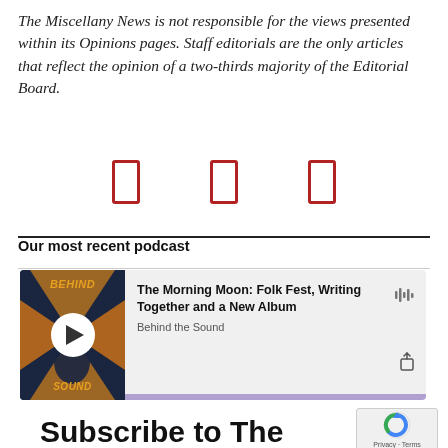The Miscellany News is not responsible for the views presented within its Opinions pages. Staff editorials are the only articles that reflect the opinion of a two-thirds majority of the Editorial Board.
[Figure (infographic): Three red outlined rectangle icons in a row, representing social media or sharing icons]
Our most recent podcast
[Figure (screenshot): Podcast widget showing 'The Morning Moon: Folk Fest, Writing Together and a New Album' by Behind the Sound, with thumbnail showing BEHIND THE SOUND logo, play button, waveform icon, share icon, and purple progress bar]
Subscribe to The Miscellany News!